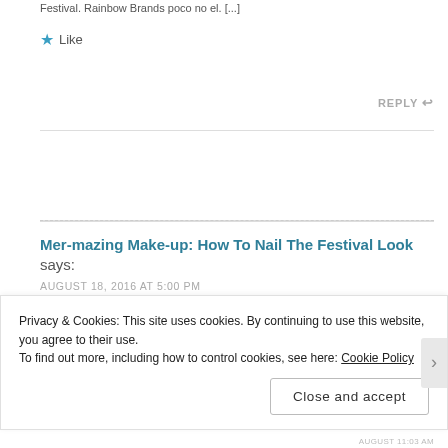Festival. Rainbow Brands poco no el. [...]
★ Like
REPLY ↩
Mer-mazing Make-up: How To Nail The Festival Look says:
AUGUST 18, 2016 AT 5:00 PM
Privacy & Cookies: This site uses cookies. By continuing to use this website, you agree to their use.
To find out more, including how to control cookies, see here: Cookie Policy
Close and accept